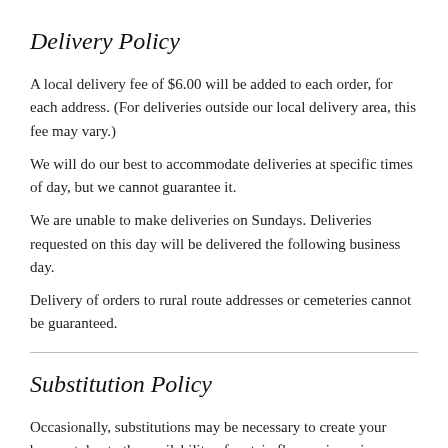Delivery Policy
A local delivery fee of $6.00 will be added to each order, for each address. (For deliveries outside our local delivery area, this fee may vary.)
We will do our best to accommodate deliveries at specific times of day, but we cannot guarantee it.
We are unable to make deliveries on Sundays. Deliveries requested on this day will be delivered the following business day.
Delivery of orders to rural route addresses or cemeteries cannot be guaranteed.
Substitution Policy
Occasionally, substitutions may be necessary to create your bouquet due to the availability of certain flowers in various parts of the country. Care is taken to maintain